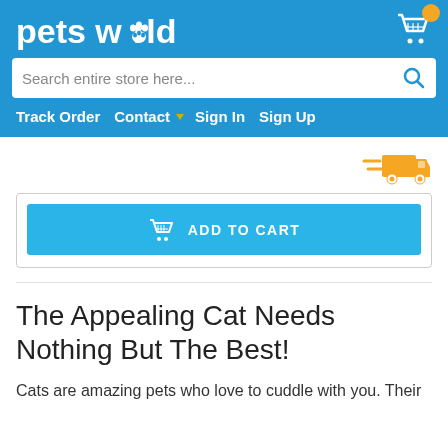pets world
Search entire store here...
Track Order  Contact  Sign In  Sign Up
[Figure (illustration): Orange delivery truck icon on white background]
[Figure (illustration): ADD TO CART button with cart icon on blue background inside bordered box]
The Appealing Cat Needs Nothing But The Best!
Cats are amazing pets who love to cuddle with you. Their